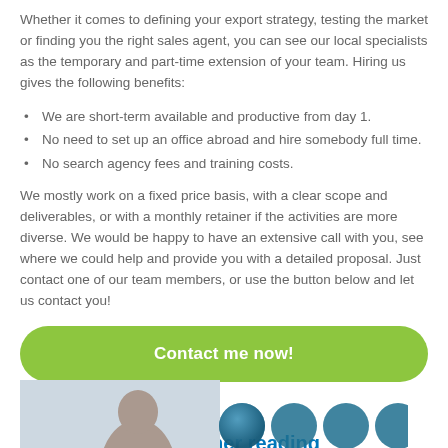Whether it comes to defining your export strategy, testing the market or finding you the right sales agent, you can see our local specialists as the temporary and part-time extension of your team. Hiring us gives the following benefits:
We are short-term available and productive from day 1.
No need to set up an office abroad and hire somebody full time.
No search agency fees and training costs.
We mostly work on a fixed price basis, with a clear scope and deliverables, or with a monthly retainer if the activities are more diverse. We would be happy to have an extensive call with you, see where we could help and provide you with a detailed proposal. Just contact one of our team members, or use the button below and let us contact you!
[Figure (other): Green rounded button with text 'Contact me now!']
Suggestions for further reading
[Figure (photo): Partial image of a person's head and blurred background, alongside circular images on the right side]